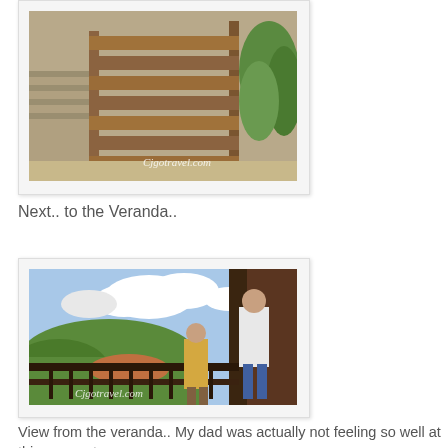[Figure (photo): Photo of a wooden veranda/fence structure with bamboo or plants visible. Watermark reads Cjgotravel.com]
Next.. to the Veranda..
[Figure (photo): View from a veranda showing green hillside, sky with clouds, and two people (a man and a child) standing at a railing. Watermark reads Cjgotravel.com]
View from the veranda.. My dad was actually not feeling so well at this moment..